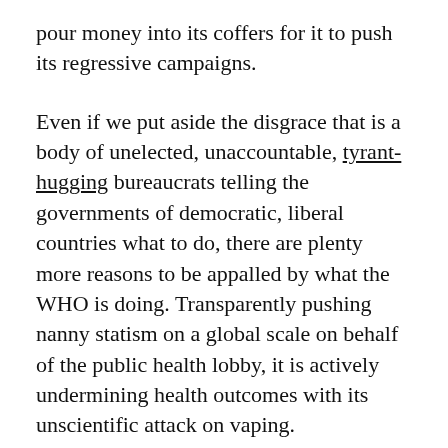pour money into its coffers for it to push its regressive campaigns.
Even if we put aside the disgrace that is a body of unelected, unaccountable, tyrant-hugging bureaucrats telling the governments of democratic, liberal countries what to do, there are plenty more reasons to be appalled by what the WHO is doing. Transparently pushing nanny statism on a global scale on behalf of the public health lobby, it is actively undermining health outcomes with its unscientific attack on vaping.
Vaping is an indispensable component of any half-decent tobacco harm reduction strategy. There is no ambiguity in the science on this, it is by far and